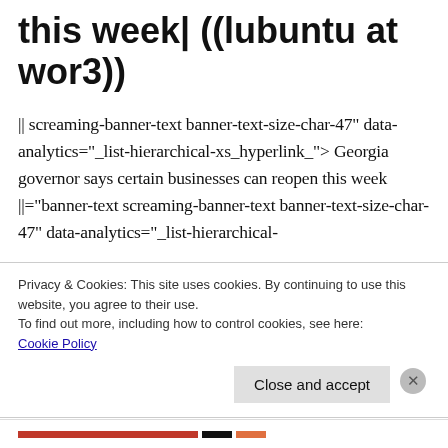this week| ((lubuntu at wor3))
|| screaming-banner-text banner-text-size-char-47" data-analytics="_list-hierarchical-xs_hyperlink_"> Georgia governor says certain businesses can reopen this week ||="banner-text screaming-banner-text banner-text-size-char-47" data-analytics="_list-hierarchical-
Privacy & Cookies: This site uses cookies. By continuing to use this website, you agree to their use.
To find out more, including how to control cookies, see here:
Cookie Policy
Close and accept